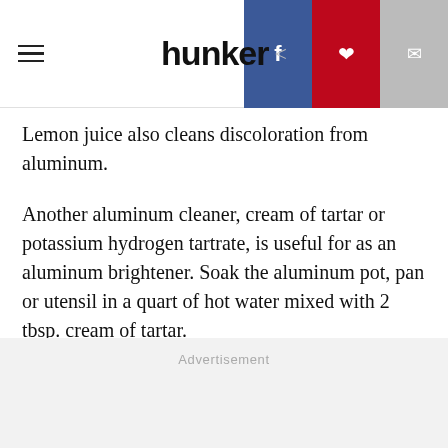hunker
Lemon juice also cleans discoloration from aluminum.
Another aluminum cleaner, cream of tartar or potassium hydrogen tartrate, is useful for as an aluminum brightener. Soak the aluminum pot, pan or utensil in a quart of hot water mixed with 2 tbsp. cream of tartar.
Advertisement